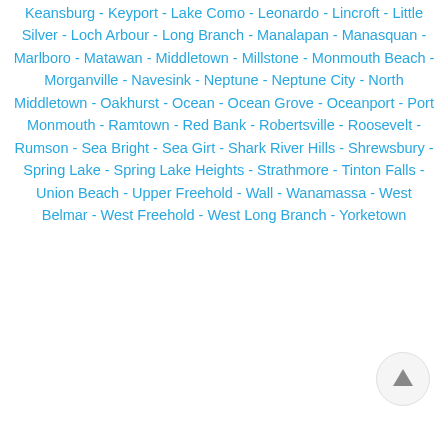Keansburg - Keyport - Lake Como - Leonardo - Lincroft - Little Silver - Loch Arbour - Long Branch - Manalapan - Manasquan - Marlboro - Matawan - Middletown - Millstone - Monmouth Beach - Morganville - Navesink - Neptune - Neptune City - North Middletown - Oakhurst - Ocean - Ocean Grove - Oceanport - Port Monmouth - Ramtown - Red Bank - Robertsville - Roosevelt - Rumson - Sea Bright - Sea Girt - Shark River Hills - Shrewsbury - Spring Lake - Spring Lake Heights - Strathmore - Tinton Falls - Union Beach - Upper Freehold - Wall - Wanamassa - West Belmar - West Freehold - West Long Branch - Yorketown
[Figure (other): Scroll-to-top circular button with upward arrow icon]